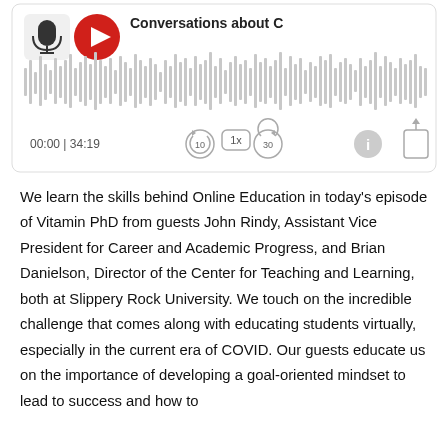[Figure (screenshot): Podcast player widget showing waveform, time 00:00 | 34:19, playback controls (rewind 10s, 1x speed, forward 30s), info and share buttons, and partial title 'Conversations about C']
We learn the skills behind Online Education in today's episode of Vitamin PhD from guests John Rindy, Assistant Vice President for Career and Academic Progress, and Brian Danielson, Director of the Center for Teaching and Learning, both at Slippery Rock University. We touch on the incredible challenge that comes along with educating students virtually, especially in the current era of COVID. Our guests educate us on the importance of developing a goal-oriented mindset to lead to success and how to